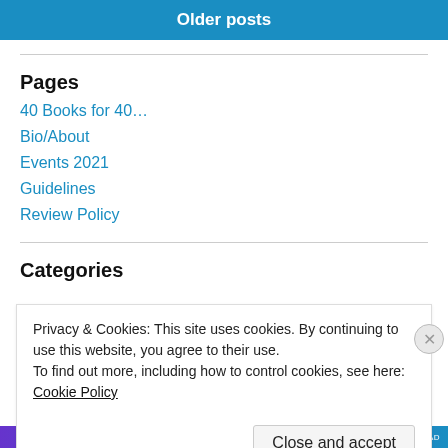Older posts
Pages
40 Books for 40…
Bio/About
Events 2021
Guidelines
Review Policy
Categories
Privacy & Cookies: This site uses cookies. By continuing to use this website, you agree to their use.
To find out more, including how to control cookies, see here: Cookie Policy
Close and accept